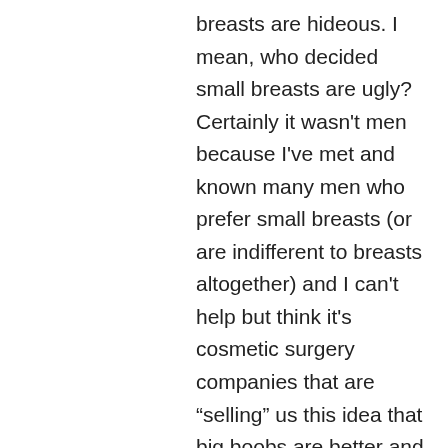breasts are hideous. I mean, who decided small breasts are ugly? Certainly it wasn't men because I've met and known many men who prefer small breasts (or are indifferent to breasts altogether) and I can't help but think it's cosmetic surgery companies that are “selling” us this idea that big boobs are better and that painted on masks are better. I mean – just the other day my sister was saying she wouldn't breast feed her children because she's afraid her boobs would shrink (nevermimd how she was insulting my breasts) because that's what happened to our mother. Women are willing to give up what's best for their children, just for vanity reasons and I will NEVER understand that perspective fully. I mean, I get it, society has brainwashed her but it